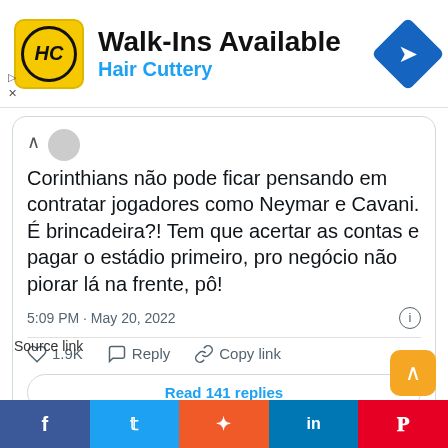[Figure (screenshot): Hair Cuttery advertisement banner with yellow logo, text 'Walk-Ins Available' and 'Hair Cuttery', and a blue navigation diamond icon]
Corinthians não pode ficar pensando em contratar jogadores como Neymar e Cavani. É brincadeira?! Tem que acertar as contas e pagar o estádio primeiro, pro negócio não piorar lá na frente, pô!
5:09 PM · May 20, 2022
1.9K    Reply    Copy link
Read 141 replies
Source link